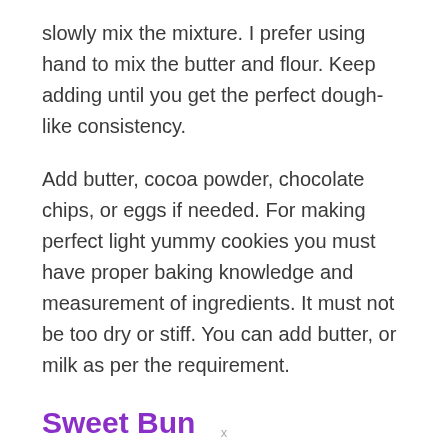slowly mix the mixture. I prefer using hand to mix the butter and flour. Keep adding until you get the perfect dough-like consistency.
Add butter, cocoa powder, chocolate chips, or eggs if needed. For making perfect light yummy cookies you must have proper baking knowledge and measurement of ingredients. It must not be too dry or stiff. You can add butter, or milk as per the requirement.
Sweet Bun
x